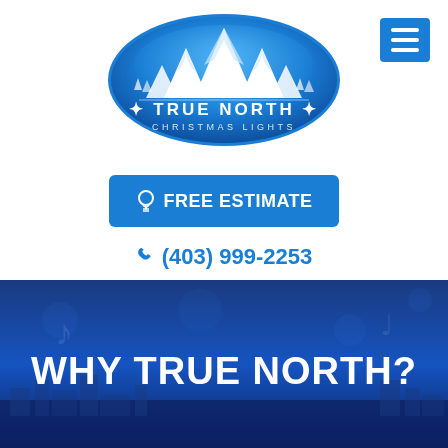[Figure (logo): True North Christmas Lights logo — a blue oval containing white mountain peaks and small tree/arrow silhouettes, with text 'TRUE NORTH' in white and 'CHRISTMAS LIGHTS' below in lighter white letters, with star decorations on either side of 'TRUE NORTH']
[Figure (illustration): Blue square button with hamburger menu icon (three horizontal white bars)]
🔦 FREE ESTIMATE
📞 (403) 999-2253
[Figure (photo): Dark blue banner background with faint city skyline and musical notes or bokeh light effects overlay]
WHY TRUE NORTH?